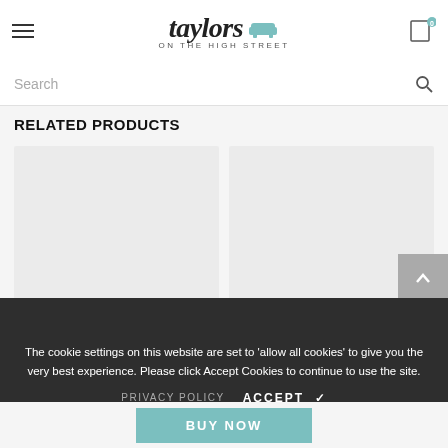[Figure (logo): Taylors On The High Street logo with sofa icon]
Search
RELATED PRODUCTS
[Figure (photo): Product card placeholder 1 - light grey rectangle]
[Figure (photo): Product card placeholder 2 - light grey rectangle]
The cookie settings on this website are set to 'allow all cookies' to give you the very best experience. Please click Accept Cookies to continue to use the site.
PRIVACY POLICY
ACCEPT ✓
BUY NOW